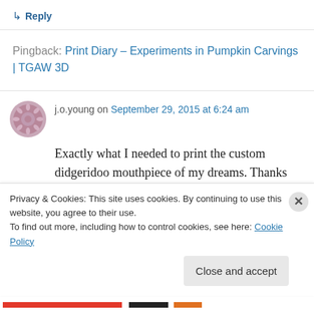↳ Reply
Pingback: Print Diary – Experiments in Pumpkin Carvings | TGAW 3D
j.o.young on September 29, 2015 at 6:24 am
Exactly what I needed to print the custom didgeridoo mouthpiece of my dreams. Thanks for sharing. BTW: (maybe in the Windows world only) the bitmap is on top after tracing
Privacy & Cookies: This site uses cookies. By continuing to use this website, you agree to their use.
To find out more, including how to control cookies, see here: Cookie Policy
Close and accept